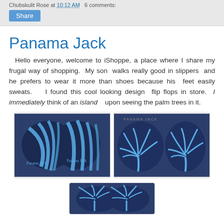Chubskulit Rose at 10:12 AM   6 comments:
Share
Panama Jack
Hello everyone, welcome to iShoppe, a place where I share my frugal way of shopping. My son walks really good in slippers and he prefers to wear it more than shoes because his feet easily sweats. I found this cool looking design flip flops in store. I immediately think of an island upon seeing the palm trees in it.
[Figure (photo): Close-up photo of blue Panama Jack flip flops, top view showing straps with Panama Jack signature logo]
[Figure (photo): Close-up photo of blue Panama Jack flip flops showing palm tree pattern on the soles]
[Figure (photo): Close-up photo of blue Panama Jack flip flops from the toe end showing palm tree pattern]